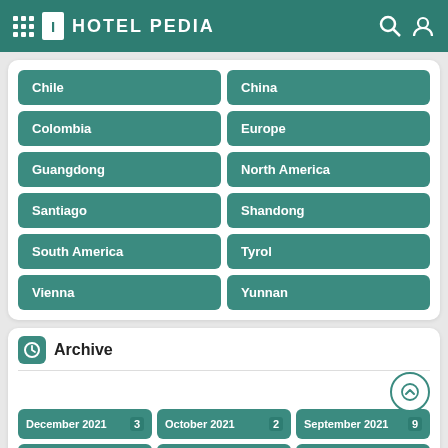HOTEL PEDIA
Chile
China
Colombia
Europe
Guangdong
North America
Santiago
Shandong
South America
Tyrol
Vienna
Yunnan
Archive
December 2021 3
October 2021 2
September 2021 9
July 2021 1
June 2020 316
May 2020 1002
April 2020 1277
March 2020 1273
February 2020 1201